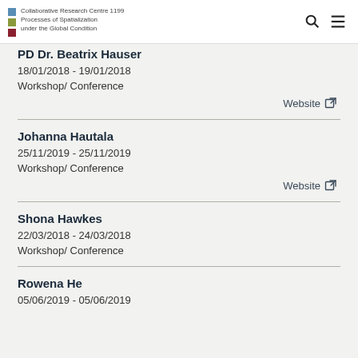Collaborative Research Centre 1199 Processes of Spatialization under the Global Condition
PD Dr. Beatrix Hauser
18/01/2018 - 19/01/2018
Workshop/ Conference
Website
Johanna Hautala
25/11/2019 - 25/11/2019
Workshop/ Conference
Website
Shona Hawkes
22/03/2018 - 24/03/2018
Workshop/ Conference
Rowena He
05/06/2019 - 05/06/2019